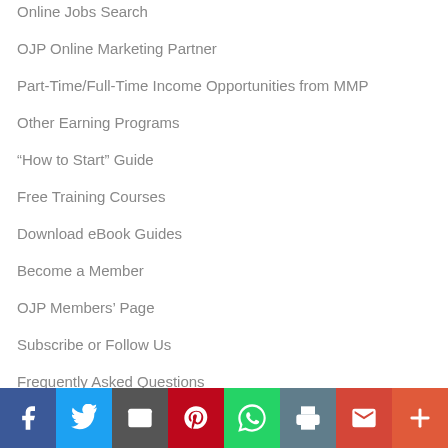Online Jobs Search
OJP Online Marketing Partner
Part-Time/Full-Time Income Opportunities from MMP
Other Earning Programs
“How to Start” Guide
Free Training Courses
Download eBook Guides
Become a Member
OJP Members’ Page
Subscribe or Follow Us
Frequently Asked Questions
About OJP
Send Us a Message
[Figure (infographic): Social sharing bar with icons: Facebook (blue), Twitter (light blue), Email/envelope (dark gray), Pinterest (red), WhatsApp (green), Print (steel blue), Gmail (red), More/plus (orange-red)]